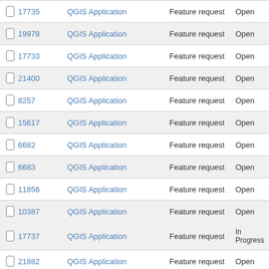|  | # | Project | Tracker | Status |
| --- | --- | --- | --- | --- |
| ☐ | 17735 | QGIS Application | Feature request | Open |
| ☐ | 19978 | QGIS Application | Feature request | Open |
| ☐ | 17733 | QGIS Application | Feature request | Open |
| ☐ | 21400 | QGIS Application | Feature request | Open |
| ☐ | 8257 | QGIS Application | Feature request | Open |
| ☐ | 15617 | QGIS Application | Feature request | Open |
| ☐ | 6682 | QGIS Application | Feature request | Open |
| ☐ | 6683 | QGIS Application | Feature request | Open |
| ☐ | 11856 | QGIS Application | Feature request | Open |
| ☐ | 10387 | QGIS Application | Feature request | Open |
| ☐ | 17737 | QGIS Application | Feature request | In Progress |
| ☐ | 21882 | QGIS Application | Feature request | Open |
| ☐ | 19106 | QGIS Application | Feature request | Reopened |